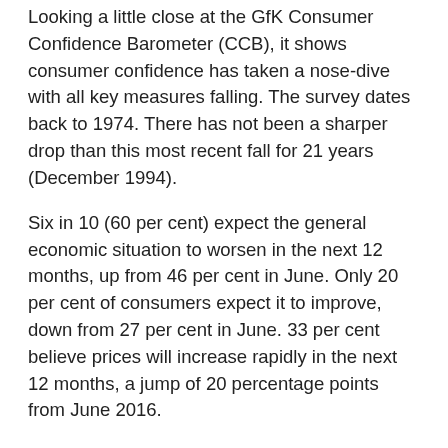Looking a little close at the GfK Consumer Confidence Barometer (CCB), it shows consumer confidence has taken a nose-dive with all key measures falling. The survey dates back to 1974. There has not been a sharper drop than this most recent fall for 21 years (December 1994).
Six in 10 (60 per cent) expect the general economic situation to worsen in the next 12 months, up from 46 per cent in June. Only 20 per cent of consumers expect it to improve, down from 27 per cent in June. 33 per cent believe prices will increase rapidly in the next 12 months, a jump of 20 percentage points from June 2016.
Joe Staton, Head of Market Dynamics at GfK, said: “In the immediate aftermath of the referendum, many sectors are vulnerable to consumers cutting back their discretionary spending. As we’ve learnt from previous periods of uncertainty, consumers turn to well-known